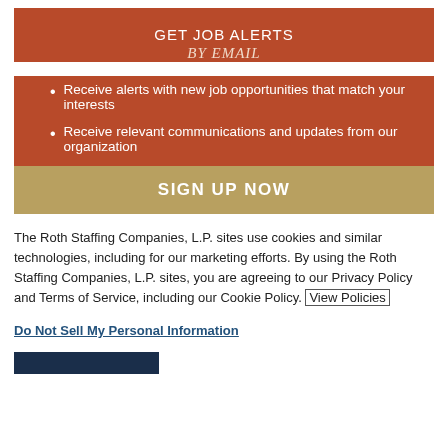GET JOB ALERTS
BY EMAIL
Receive alerts with new job opportunities that match your interests
Receive relevant communications and updates from our organization
SIGN UP NOW
The Roth Staffing Companies, L.P. sites use cookies and similar technologies, including for our marketing efforts. By using the Roth Staffing Companies, L.P. sites, you are agreeing to our Privacy Policy and Terms of Service, including our Cookie Policy. View Policies
Do Not Sell My Personal Information
[Figure (other): Navy blue rectangular bar at bottom]